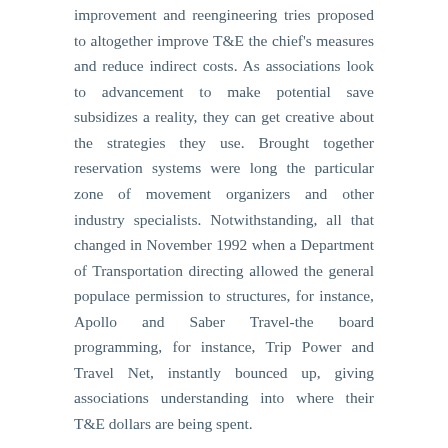improvement and reengineering tries proposed to altogether improve T&E the chief's measures and reduce indirect costs. As associations look to advancement to make potential save subsidizes a reality, they can get creative about the strategies they use. Brought together reservation systems were long the particular zone of movement organizers and other industry specialists. Notwithstanding, all that changed in November 1992 when a Department of Transportation directing allowed the general populace permission to structures, for instance, Apollo and Saber Travel-the board programming, for instance, Trip Power and Travel Net, instantly bounced up, giving associations understanding into where their T&E dollars are being spent.
Leave a Comment
Badminton Game – A Fun to Perform